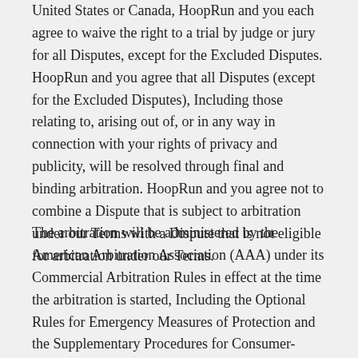United States or Canada, HoopRun and you each agree to waive the right to a trial by judge or jury for all Disputes, except for the Excluded Disputes. HoopRun and you agree that all Disputes (except for the Excluded Disputes), Including those relating to, arising out of, or in any way in connection with your rights of privacy and publicity, will be resolved through final and binding arbitration. HoopRun and you agree not to combine a Dispute that is subject to arbitration under our Terms with a Dispute that is not eligible for arbitration under our Terms.
The arbitration will be administered by the American Arbitration Association (AAA) under its Commercial Arbitration Rules in effect at the time the arbitration is started, Including the Optional Rules for Emergency Measures of Protection and the Supplementary Procedures for Consumer-Related Disputes (together, the "AAA Rules"). The arbitration will be presided over by a single arbitrator selected in accordance with the AAA